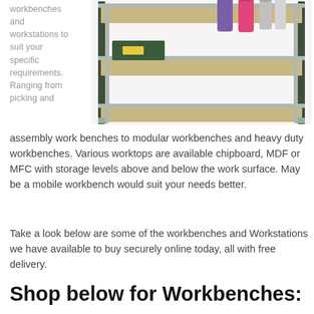workbenches and workstations to suit your specific requirements. Ranging from picking and
[Figure (photo): Photo of a metal and wood shelving workbench unit with three levels. The top shelf holds bottles (pink, purple, silver) and cylinders. The middle shelf has a green box with yellow label. The frame is grey/silver metal with dark green uprights.]
assembly work benches to modular workbenches and heavy duty workbenches. Various worktops are available chipboard, MDF or MFC with storage levels above and below the work surface. May be a mobile workbench would suit your needs better.
Take a look below are some of the workbenches and Workstations we have available to buy securely online today, all with free delivery.
Shop below for Workbenches: